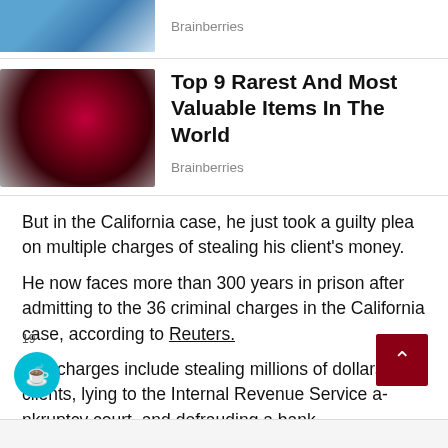[Figure (photo): Partial view of a person wearing blue, top strip ad image]
Brainberries
[Figure (photo): Close-up of a hand holding a dark red/maroon spherical gem or fruit]
Top 9 Rarest And Most Valuable Items In The World
Brainberries
But in the California case, he just took a guilty plea on multiple charges of stealing his client's money.
He now faces more than 300 years in prison after admitting to the 36 criminal charges in the California case, according to Reuters.
The charges include stealing millions of dollars from clients, lying to the Internal Revenue Service and bankruptcy court, and defrauding a bank.